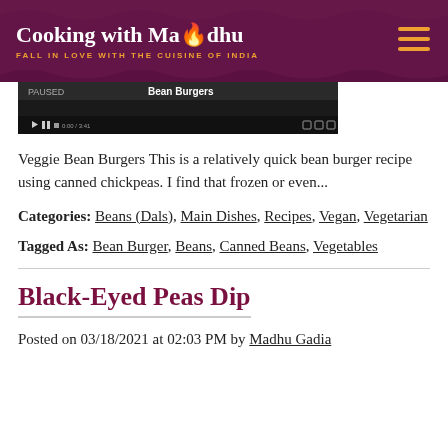Cooking with Madhu — FALL IN LOVE WITH THE CUISINE OF INDIA
[Figure (screenshot): Video thumbnail showing 'Bean Burgers' with video player controls]
Veggie Bean Burgers This is a relatively quick bean burger recipe using canned chickpeas. I find that frozen or even...
Categories: Beans (Dals), Main Dishes, Recipes, Vegan, Vegetarian
Tagged As: Bean Burger, Beans, Canned Beans, Vegetables
Black-Eyed Peas Dip
Posted on 03/18/2021 at 02:03 PM by Madhu Gadia